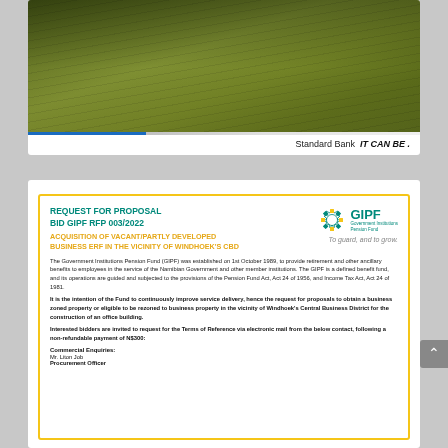[Figure (photo): Aerial view of green grass/crop field with Standard Bank IT CAN BE branding and blue/silver gradient bar at bottom]
REQUEST FOR PROPOSAL
BID GIPF RFP 003/2022
ACQUISITION OF VACANT/PARTLY DEVELOPED BUSINESS ERF IN THE VICINITY OF WINDHOEK'S CBD
[Figure (logo): GIPF - Government Institutions Pension Fund logo with circular decorative element and tagline 'To guard, and to grow.']
The Government Institutions Pension Fund (GIPF) was established on 1st October 1989, to provide retirement and other ancillary benefits to employees in the service of the Namibian Government and other member institutions. The GIPF is a defined benefit fund, and its operations are guided and subjected to the provisions of the Pension Fund Act, Act 24 of 1956, and Income Tax Act, Act 24 of 1981.
It is the intention of the Fund to continuously improve service delivery, hence the request for proposals to obtain a business zoned property or eligible to be rezoned to business property in the vicinity of Windhoek's Central Business District for the construction of an office building.
Interested bidders are invited to request for the Terms of Reference via electronic mail from the below contact, following a non-refundable payment of N$300:
Commercial Enquiries:
Mr. Liton Job
Procurement Officer